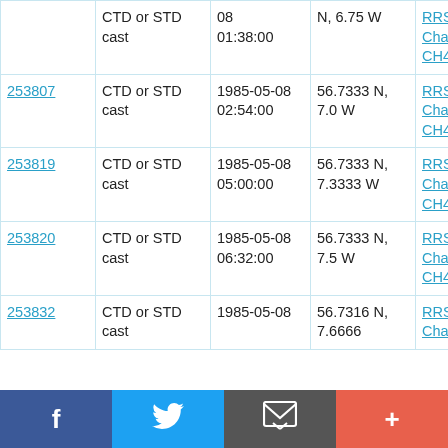| ID | Type | Date/Time | Location | Vessel |
| --- | --- | --- | --- | --- |
|  | CTD or STD cast | 08
01:38:00 | N, 6.75 W | RRS Challenger CH4/85 |
| 253807 | CTD or STD cast | 1985-05-08
02:54:00 | 56.7333 N, 7.0 W | RRS Challenger CH4/85 |
| 253819 | CTD or STD cast | 1985-05-08
05:00:00 | 56.7333 N, 7.3333 W | RRS Challenger CH4/85 |
| 253820 | CTD or STD cast | 1985-05-08
06:32:00 | 56.7333 N, 7.5 W | RRS Challenger CH4/85 |
| 253832 | CTD or STD cast | 1985-05-08 | 56.7316 N, 7.6666 | RRS Challenger |
[Figure (infographic): Social sharing bar with Facebook, Twitter, email, and plus buttons]